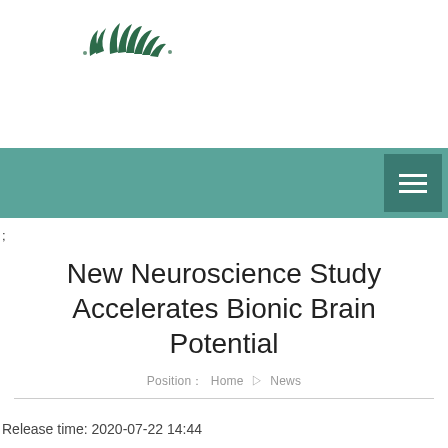[Figure (logo): Green leaf/palm logo mark in dark green]
Navigation bar with hamburger menu icon
;
New Neuroscience Study Accelerates Bionic Brain Potential
Position： Home ▷ News
Release time: 2020-07-22 14:44